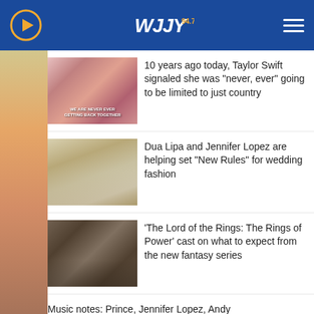WJJY 94.7
10 years ago today, Taylor Swift signaled she was "never, ever" going to be limited to just country
Dua Lipa and Jennifer Lopez are helping set "New Rules" for wedding fashion
'The Lord of the Rings: The Rings of Power' cast on what to expect from the new fantasy series
Music notes: Prince, Jennifer Lopez, Andy ...